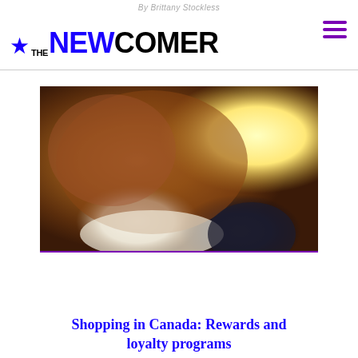By Brittany Stockless
[Figure (logo): The Newcomer logo with blue maple leaf, 'THE NEW' in blue bold and 'COMER' in black bold]
[Figure (photo): Blurred photo of shopping items - brown bag, white and dark objects with yellow glow, loyalty/rewards related]
Shopping in Canada: Rewards and loyalty programs